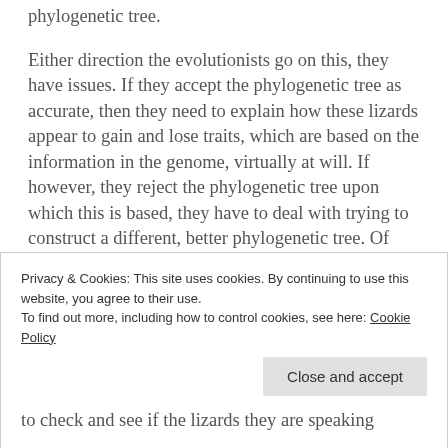phylogenetic tree.
Either direction the evolutionists go on this, they have issues.  If they accept the phylogenetic tree as accurate, then they need to explain how these lizards appear to gain and lose traits, which are based on the information in the genome, virtually at will.  If however, they reject the phylogenetic tree upon which this is based, they have to deal with trying to construct a different, better phylogenetic tree.  Of course, they might argue that this is equally problematic for creationists in
Privacy & Cookies: This site uses cookies. By continuing to use this website, you agree to their use.
To find out more, including how to control cookies, see here: Cookie Policy
to check and see if the lizards they are speaking